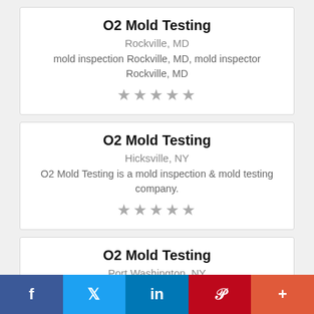O2 Mold Testing
Rockville, MD
mold inspection Rockville, MD, mold inspector Rockville, MD
★★★★★
O2 Mold Testing
Hicksville, NY
O2 Mold Testing is a mold inspection & mold testing company.
★★★★★
O2 Mold Testing
Port Washington, NY
O2 Mold Testing is a mold inspection & mold
f  Twitter  in  P  +